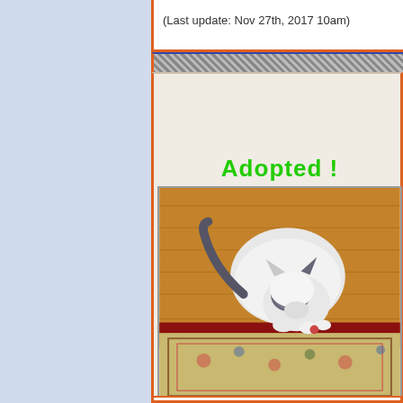(Last update: Nov 27th, 2017 10am)
[Figure (photo): A black and white cat (likely Siamese mix) crouching on a wooden floor next to a decorative rug, playing with something]
Adopted !
I have more pictures
Click Here to see !